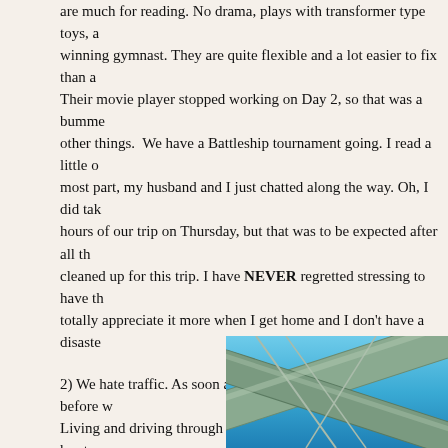are much for reading. No drama, plays with transformer type toys, a winning gymnast. They are quite flexible and a lot easier to fix than a Their movie player stopped working on Day 2, so that was a bumme other things. We have a Battleship tournament going. I read a little c most part, my husband and I just chatted along the way. Oh, I did tak hours of our trip on Thursday, but that was to be expected after all th cleaned up for this trip. I have NEVER regretted stressing to have th totally appreciate it more when I get home and I don't have a disaste
2) We hate traffic. As soon as we knew we were stuck miles before w Living and driving through Houston twice a day for two years has tra finding a little bit longer route around Baltimore but we were going sc angry. Thankfully we didn't have traffic issues on Day 2.
3) The route from Wilmington to Boston is filled with really cool sites. didn't get to drive closer as planned because of #2. We saw downtow really cool, huge bridges.
[Figure (photo): Close-up photo of large bridge cables/beams against a blue sky, showing crossing metal structural elements in grey/silver color]